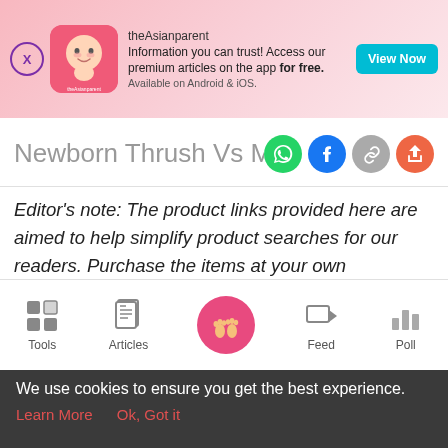[Figure (screenshot): theAsianparent app advertisement banner with logo, tagline 'Information you can trust! Access our premium articles on the app for free. Available on Android & iOS.' and a 'View Now' button]
Newborn Thrush Vs Milk Tongue: Ho...
Editor's note: The product links provided here are aimed to help simplify product searches for our readers. Purchase the items at your own discretion. We do not take liability for any transaction issues and dispute. If you purchase an item from this post, theAsianparent may receive a small cut. Each item and price is up to date at the time of publication; however, an item may be sold out or the price may be
[Figure (screenshot): Bottom navigation bar with Tools, Articles, Home (baby feet icon on pink circle), Feed, and Poll icons]
We use cookies to ensure you get the best experience.
Learn More   Ok, Got it